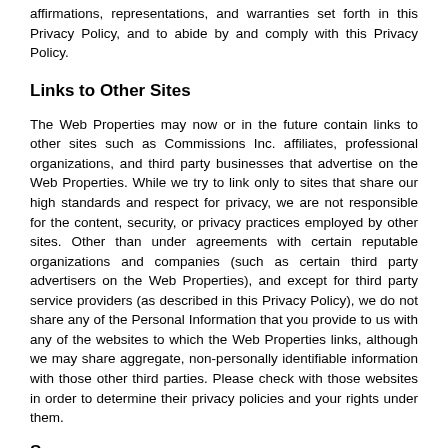affirmations, representations, and warranties set forth in this Privacy Policy, and to abide by and comply with this Privacy Policy.
Links to Other Sites
The Web Properties may now or in the future contain links to other sites such as Commissions Inc. affiliates, professional organizations, and third party businesses that advertise on the Web Properties. While we try to link only to sites that share our high standards and respect for privacy, we are not responsible for the content, security, or privacy practices employed by other sites. Other than under agreements with certain reputable organizations and companies (such as certain third party advertisers on the Web Properties), and except for third party service providers (as described in this Privacy Policy), we do not share any of the Personal Information that you provide to us with any of the websites to which the Web Properties links, although we may share aggregate, non-personally identifiable information with those other third parties. Please check with those websites in order to determine their privacy policies and your rights under them.
Secu...